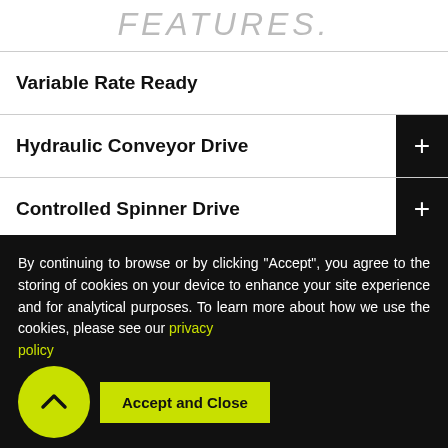FEATURES.
Variable Rate Ready
Hydraulic Conveyor Drive
Controlled Spinner Drive
Belt-Over-Chain Design
Dual Stainless-Steel Spinners
By continuing to browse or by clicking "Accept", you agree to the storing of cookies on your device to enhance your site experience and for analytical purposes. To learn more about how we use the cookies, please see our privacy policy.
Accept and Close